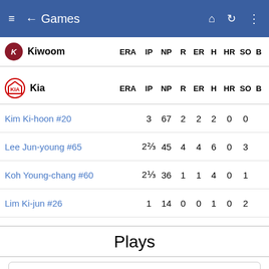Games
| Kiwoom | ERA | IP | NP | R | ER | H | HR | SO | B |
| --- | --- | --- | --- | --- | --- | --- | --- | --- | --- |
| Kia | ERA | IP | NP | R | ER | H | HR | SO | B |
| --- | --- | --- | --- | --- | --- | --- | --- | --- | --- |
| Kim Ki-hoon #20 |  | 3 | 67 | 2 | 2 | 2 | 0 | 0 |  |
| Lee Jun-young #65 |  | 2⅔ | 45 | 4 | 4 | 6 | 0 | 3 |  |
| Koh Young-chang #60 |  | 2⅓ | 36 | 1 | 1 | 4 | 0 | 1 |  |
| Lim Ki-jun #26 |  | 1 | 14 | 0 | 0 | 1 | 0 | 2 |  |
Plays
1st Inning
2nd Inning